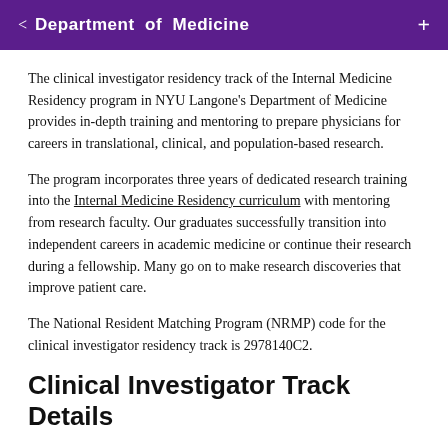< Department of Medicine +
The clinical investigator residency track of the Internal Medicine Residency program in NYU Langone's Department of Medicine provides in-depth training and mentoring to prepare physicians for careers in translational, clinical, and population-based research.
The program incorporates three years of dedicated research training into the Internal Medicine Residency curriculum with mentoring from research faculty. Our graduates successfully transition into independent careers in academic medicine or continue their research during a fellowship. Many go on to make research discoveries that improve patient care.
The National Resident Matching Program (NRMP) code for the clinical investigator residency track is 2978140C2.
Clinical Investigator Track Details